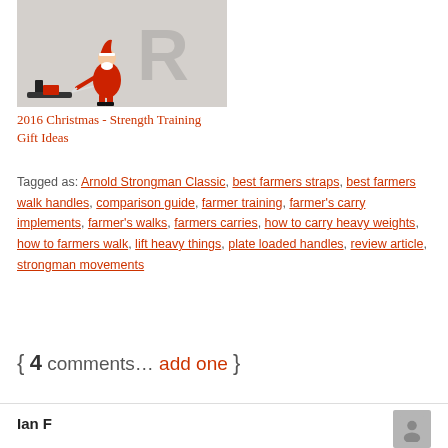[Figure (photo): Photo of a person dressed as Santa Claus in red suit pulling a heavy sled/weight implement across a gym floor, with a large letter R on the wall in background]
2016 Christmas - Strength Training Gift Ideas
Tagged as: Arnold Strongman Classic, best farmers straps, best farmers walk handles, comparison guide, farmer training, farmer's carry implements, farmer's walks, farmers carries, how to carry heavy weights, how to farmers walk, lift heavy things, plate loaded handles, review article, strongman movements
{ 4 comments… add one }
Ian F